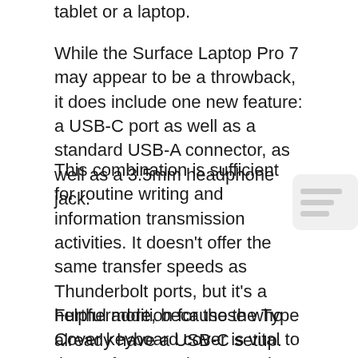tablet or a laptop.
While the Surface Laptop Pro 7 may appear to be a throwback, it does include one new feature: a USB-C port as well as a standard USB-A connector, as well as a 3.5mm headphone jack.
This combination is sufficient for routine writing and information transmission activities. It doesn’t offer the same transfer speeds as Thunderbolt ports, but it’s a helpful addition for those who already have a USB-C setup.
Furthermore, because the Type Cover keyboard cover is vital to the Surface Pro, it’s rare to be marketed separately.